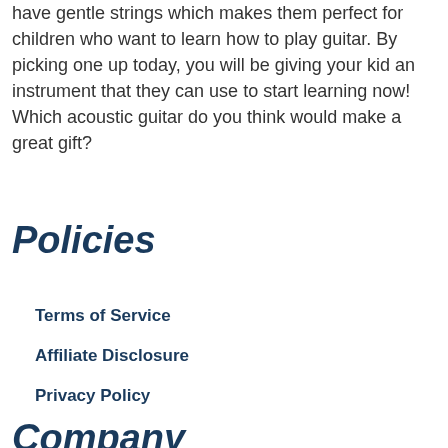have gentle strings which makes them perfect for children who want to learn how to play guitar. By picking one up today, you will be giving your kid an instrument that they can use to start learning now! Which acoustic guitar do you think would make a great gift?
Policies
Terms of Service
Affiliate Disclosure
Privacy Policy
Company